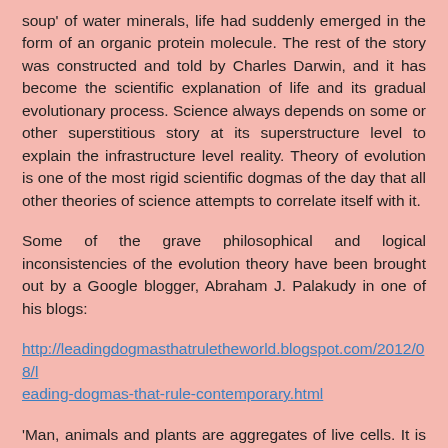soup' of water minerals, life had suddenly emerged in the form of an organic protein molecule. The rest of the story was constructed and told by Charles Darwin, and it has become the scientific explanation of life and its gradual evolutionary process. Science always depends on some or other superstitious story at its superstructure level to explain the infrastructure level reality. Theory of evolution is one of the most rigid scientific dogmas of the day that all other theories of science attempts to correlate itself with it.
Some of the grave philosophical and logical inconsistencies of the evolution theory have been brought out by a Google blogger, Abraham J. Palakudy in one of his blogs:
http://leadingdogmasthatruletheworld.blogspot.com/2012/08/leading-dogmas-that-rule-contemporary.html
'Man, animals and plants are aggregates of live cells. It is the cell that mutate to bring forth evolutionary changes. Now the question is, what triggers the mutation? Is it a pre-designed, pre-determined periodical routine of nature, or the sudden